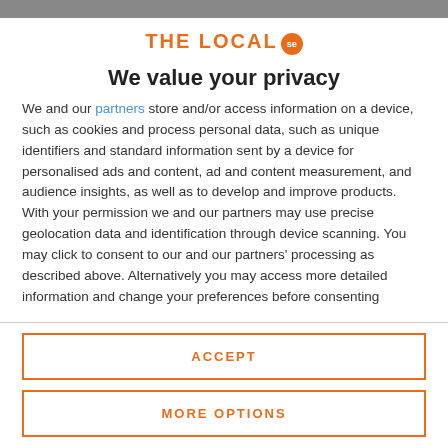[Figure (logo): THE LOCAL se logo with orange text and orange circle badge]
We value your privacy
We and our partners store and/or access information on a device, such as cookies and process personal data, such as unique identifiers and standard information sent by a device for personalised ads and content, ad and content measurement, and audience insights, as well as to develop and improve products. With your permission we and our partners may use precise geolocation data and identification through device scanning. You may click to consent to our and our partners' processing as described above. Alternatively you may access more detailed information and change your preferences before consenting
ACCEPT
MORE OPTIONS
PM belts probe into